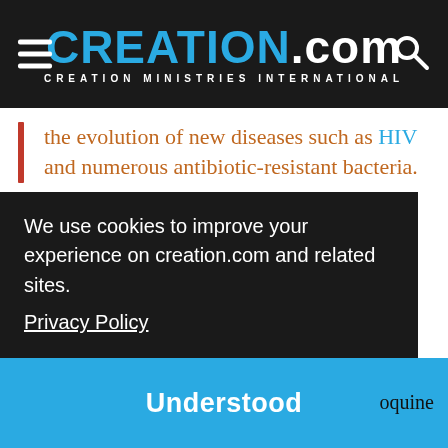CREATION.com — CREATION MINISTRIES INTERNATIONAL
the evolution of new diseases such as HIV and numerous antibiotic-resistant bacteria.
Behe's second book, The Edge of Evolution,19 covers the issue of beneficial mutations and the limits of Darwinian processes. As his Ph.D. research involved malaria, he applies his expertise to the malarial parasite (Plasmodium falciparum) and the mutations humans
We use cookies to improve your experience on creation.com and related sites. Privacy Policy
Understood
oquine resistance likely involves two specific mutations